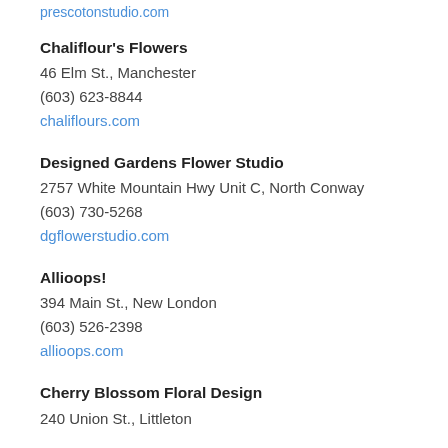prescotonstudio.com
Chaliflour's Flowers
46 Elm St., Manchester
(603) 623-8844
chaliflours.com
Designed Gardens Flower Studio
2757 White Mountain Hwy Unit C, North Conway
(603) 730-5268
dgflowerstudio.com
Allioops!
394 Main St., New London
(603) 526-2398
allioops.com
Cherry Blossom Floral Design
240 Union St., Littleton